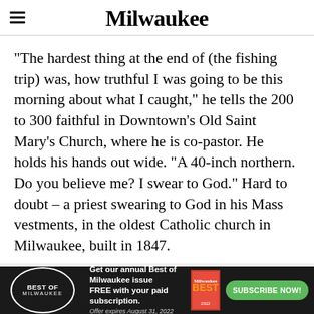Milwaukee
“The hardest thing at the end of (the fishing trip) was, how truthful I was going to be this morning about what I caught,” he tells the 200 to 300 faithful in Downtown’s Old Saint Mary’s Church, where he is co-pastor. He holds his hands out wide. “A 40-inch northern. Do you believe me? I swear to God.” Hard to doubt – a priest swearing to God in his Mass vestments, in the oldest Catholic church in Milwaukee, built in 1847.
This website uses cookies to improve your experience. We’ll assume you’re ok with this, but you can opt-out if you wish. Cookie
[Figure (infographic): Best of Milwaukee advertisement banner: circular logo with 'BEST OF MILWAUKEE' text, ad copy 'Get our annual Best of Milwaukee issue FREE with your paid subscription. Offer expires August 31, 2022', Milwaukee Best magazine cover thumbnail, and green 'SUBSCRIBE NOW!' button]